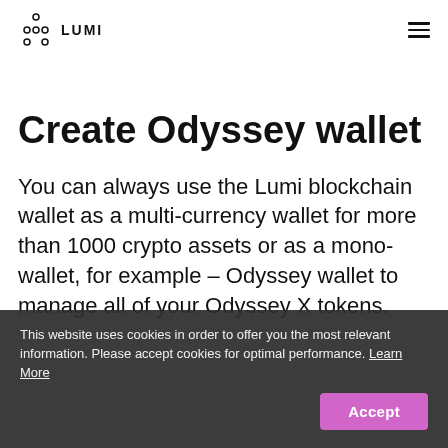LUMI
Create Odyssey wallet
You can always use the Lumi blockchain wallet as a multi-currency wallet for more than 1000 crypto assets or as a mono-wallet, for example – Odyssey wallet to manage all of your Odyssey X tokens.
This website uses cookies in order to offer you the most relevant information. Please accept cookies for optimal performance. Learn More
Accept